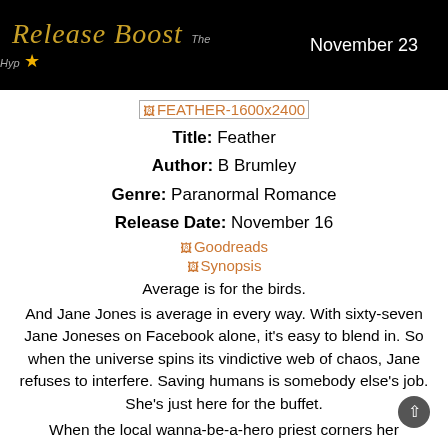[Figure (illustration): Release Boost banner with gold italic script 'Release Boost', small 'The Hype' logo with star, and 'November 23' in white text on black background]
[Figure (other): Broken image placeholder link labeled FEATHER-1600x2400]
Title: Feather
Author: B Brumley
Genre: Paranormal Romance
Release Date: November 16
[Figure (other): Broken image placeholder link labeled Goodreads]
[Figure (other): Broken image placeholder link labeled Synopsis]
Average is for the birds.
And Jane Jones is average in every way. With sixty-seven Jane Joneses on Facebook alone, it's easy to blend in. So when the universe spins its vindictive web of chaos, Jane refuses to interfere. Saving humans is somebody else's job. She's just here for the buffet.
When the local wanna-be-a-hero priest corners her